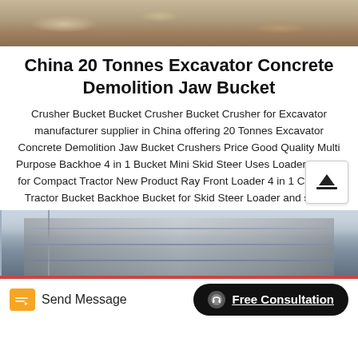[Figure (photo): Top portion of a sandy/earthen outdoor scene, likely a construction or excavation site]
China 20 Tonnes Excavator Concrete Demolition Jaw Bucket
Crusher Bucket Bucket Crusher Bucket Crusher for Excavator manufacturer supplier in China offering 20 Tonnes Excavator Concrete Demolition Jaw Bucket Crushers Price Good Quality Multi Purpose Backhoe 4 in 1 Bucket Mini Skid Steer Uses Loader Bucket for Compact Tractor New Product Ray Front Loader 4 in 1 Compact Tractor Bucket Backhoe Bucket for Skid Steer Loader and so on.
[Figure (photo): Bottom portion showing interior of an industrial warehouse or factory with metal framework and pipes]
Send Message
Free Consultation